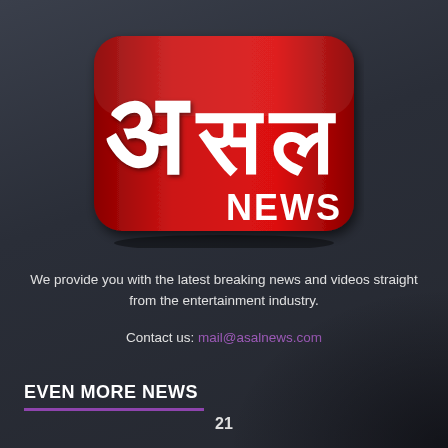[Figure (logo): Asal News logo — red rounded rectangle with Devanagari characters and 'NEWS' text in white]
We provide you with the latest breaking news and videos straight from the entertainment industry.
Contact us: mail@asalnews.com
EVEN MORE NEWS
21